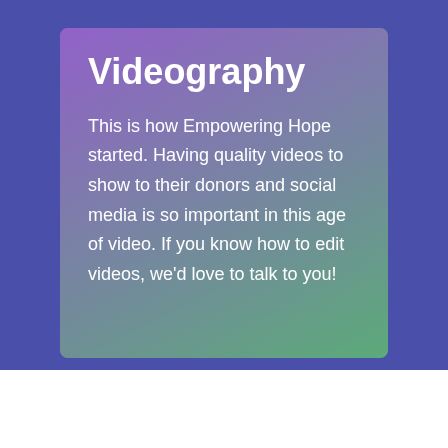Videography
This is how Empowering Hope started. Having quality videos to show to their donors and social media is so important in this age of video. If you know how to edit videos, we'd love to talk to you!